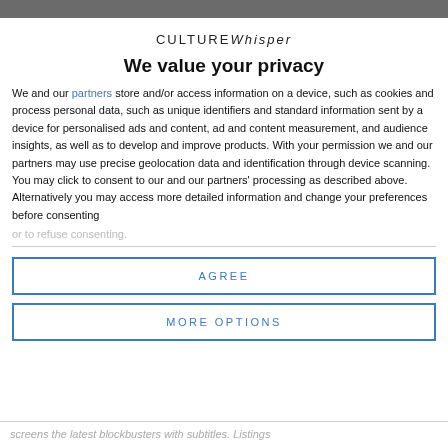CULTUREWhisper
We value your privacy
We and our partners store and/or access information on a device, such as cookies and process personal data, such as unique identifiers and standard information sent by a device for personalised ads and content, ad and content measurement, and audience insights, as well as to develop and improve products. With your permission we and our partners may use precise geolocation data and identification through device scanning. You may click to consent to our and our partners' processing as described above. Alternatively you may access more detailed information and change your preferences before consenting or to refuse consenting.
AGREE
MORE OPTIONS
screens the latest blockbusters with subtitles. Listings